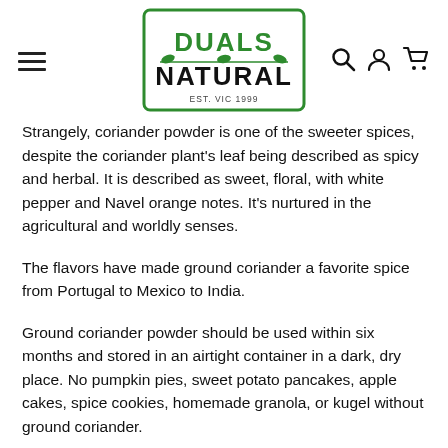[Figure (logo): Duals Natural logo — green hand-drawn rectangle border with green leaf decoration, bold green text 'DUALS' and bold black text 'NATURAL', small text 'EST. VIC 1999' below]
Strangely, coriander powder is one of the sweeter spices, despite the coriander plant's leaf being described as spicy and herbal. It is described as sweet, floral, with white pepper and Navel orange notes. It's nurtured in the agricultural and worldly senses.
The flavors have made ground coriander a favorite spice from Portugal to Mexico to India.
Ground coriander powder should be used within six months and stored in an airtight container in a dark, dry place. No pumpkin pies, sweet potato pancakes, apple cakes, spice cookies, homemade granola, or kugel without ground coriander.
The Greeks used it for medicinal, and the Egyptians employed it in